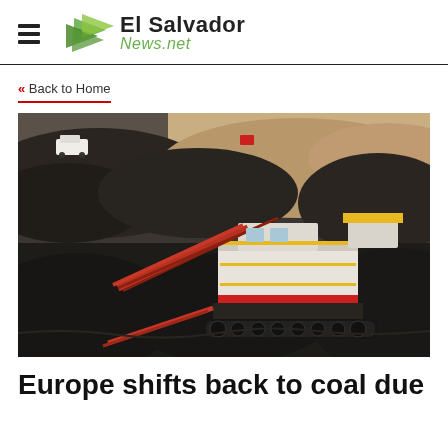El Salvador News.net
« Back to Home
[Figure (photo): Large coal mining machine (dragline excavator) operating in an open-pit coal mine, surrounded by large mounds of coal. A white vehicle is visible in the background upper left, and a red object is visible in the upper center area.]
Europe shifts back to coal due